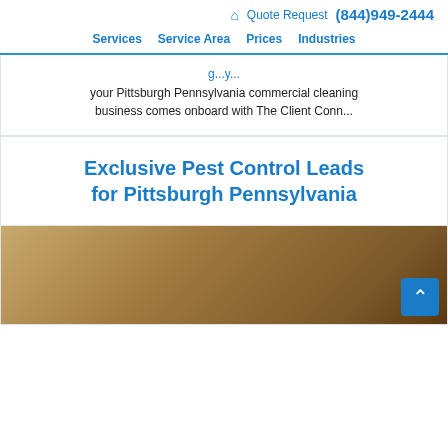🏠 Quote Request (844)949-2444 Services Service Area Prices Industries
your Pittsburgh Pennsylvania commercial cleaning business comes onboard with The Client Conn...
Exclusive Pest Control Leads for Pittsburgh Pennsylvania
[Figure (photo): Photo of a pest or pest-related scene, partially visible at bottom of page, warm brown tones]